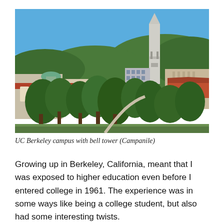[Figure (photo): Aerial view of UC Berkeley campus showing buildings with red tile roofs, green trees, and the prominent Campanile (Sather Tower) bell tower in the background against a clear blue sky, with wooded hills behind.]
UC Berkeley campus with bell tower (Campanile)
Growing up in Berkeley, California, meant that I was exposed to higher education even before I entered college in 1961. The experience was in some ways like being a college student, but also had some interesting twists.